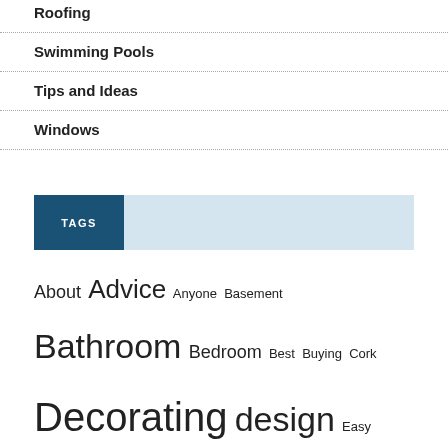Roofing
Swimming Pools
Tips and Ideas
Windows
TAGS
About Advice Anyone Basement Bathroom Bedroom Best Buying Cork Decorating design Easy Family Find Flooring Follow Furniture Get Great Help Hobbies? Hobby Home HVAC idea Ideas Improvement Information Interior Know living room Look Make Need New